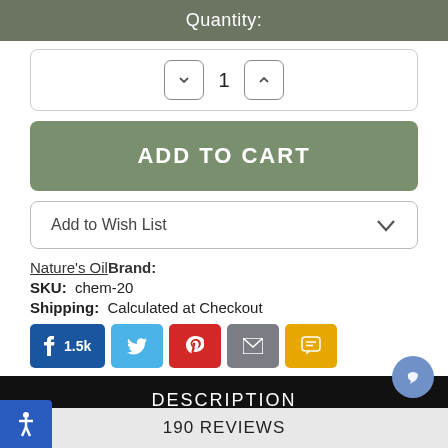Quantity:
1 (quantity selector with up/down buttons)
ADD TO CART
Add to Wish List
Nature's Oil Brand:
SKU:  chem-20
Shipping:  Calculated at Checkout
[Figure (other): Social sharing buttons: Facebook (1.5k), Twitter, Pinterest, Email, SMS]
DESCRIPTION
190 REVIEWS